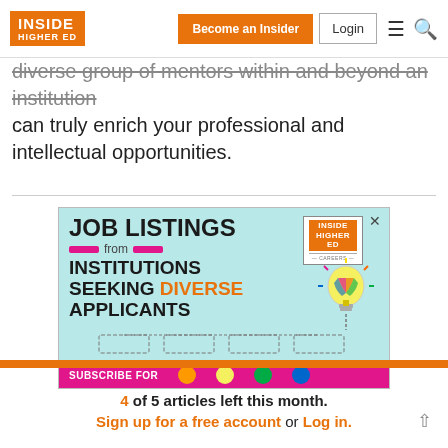INSIDE HIGHER ED | Become an Insider | Login
diverse group of mentors within and beyond an institution can truly enrich your professional and intellectual opportunities.
[Figure (infographic): Job Listings advertisement from Inside Higher Ed Careers. Text reads: JOB LISTINGS from INSTITUTIONS SEEKING DIVERSE APPLICANTS. Features a colorful lightbulb illustration, the Inside Higher Ed Careers logo, an organizational chart with dashed boxes, and a pink SUBSCRIBE FOR bar at the bottom.]
4 of 5 articles left this month. Sign up for a free account or Log in.